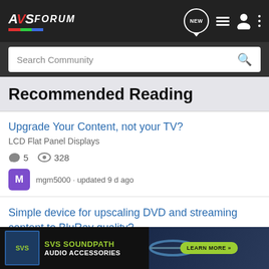AVSForum - Search Community - NEW
Recommended Reading
Upgrade Your Content, not your TV?
LCD Flat Panel Displays
5 comments · 328 views
mgm5000 · updated 9 d ago
Simple device for upscaling DVD and streaming content to BluRay quality?
Video Processors
28 comments
[Figure (screenshot): SVS SoundPath Audio Accessories advertisement banner with logo and Learn More button]